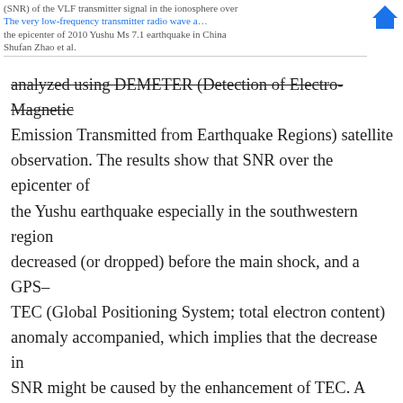(SNR) of the VLF transmitter signal in the ionosphere over the epicenter of 2010 Yushu Ms 7.1 earthquake in China
The very low-frequency transmitter radio wave a…
Shufan Zhao et al.
analyzed using DEMETER (Detection of Electro-Magnetic Emission Transmitted from Earthquake Regions) satellite observation. The results show that SNR over the epicenter of the Yushu earthquake especially in the southwestern region decreased (or dropped) before the main shock, and a GPS–TEC (Global Positioning System; total electron content) anomaly accompanied, which implies that the decrease in SNR might be caused by the enhancement of TEC. A full-wave method is used to study the mechanism of the change in SNR before the earthquake. The simulated results show SNR does not always decrease before an earthquake. When the electron density in the lower ionosphere increases by 3 times, the electric field will decrease about 2 dB, indicating that the disturbed-electric-field decrease of 20 % compared with the original electric field and vice versa. It can be concluded that the variation of electron density before